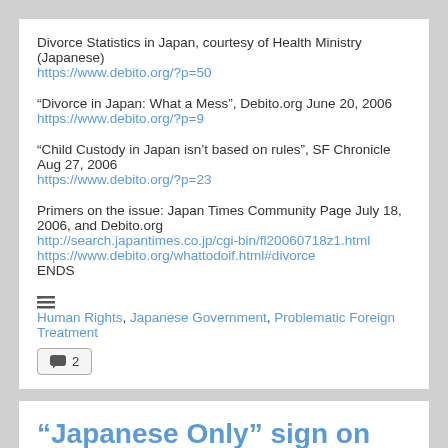Divorce Statistics in Japan, courtesy of Health Ministry (Japanese)
https://www.debito.org/?p=50
“Divorce in Japan: What a Mess”, Debito.org June 20, 2006
https://www.debito.org/?p=9
“Child Custody in Japan isn’t based on rules”, SF Chronicle Aug 27, 2006
https://www.debito.org/?p=23
Primers on the issue: Japan Times Community Page July 18, 2006, and Debito.org
http://search.japantimes.co.jp/cgi-bin/fl20060718z1.html
https://www.debito.org/whattodoif.html#divorce
ENDS
Human Rights, Japanese Government, Problematic Foreign Treatment
2
“Japanese Only” sign on